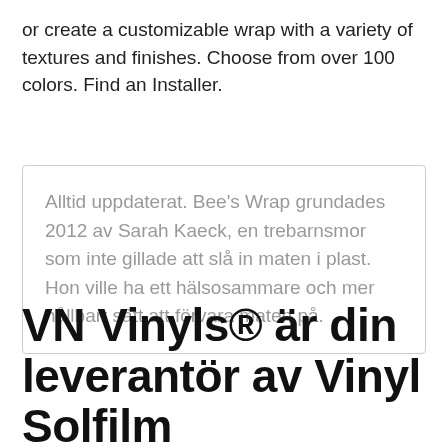or create a customizable wrap with a variety of textures and finishes. Choose from over 100 colors. Find an Installer.
Alltid uppdaterat. Bee's Wrap grundades 2012 av Sarah Kaeck, en trebarnsmor som inte gillade att slå in maten i plast. Hon ville ha ett hälsosammare och mer hållbart sätt att förvara maten på.
VN Vinyls® är din leverantör av Vinyl Solfilm Strålkastarfilm